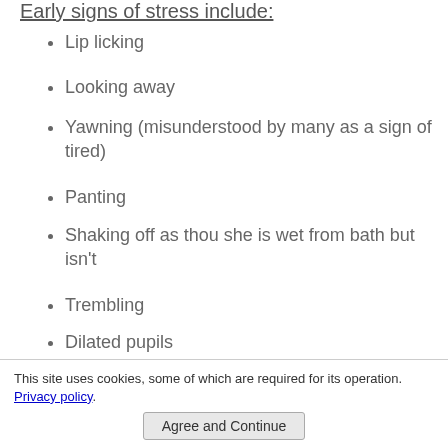Early signs of stress include:
Lip licking
Looking away
Yawning (misunderstood by many as a sign of tired)
Panting
Shaking off as thou she is wet from bath but isn't
Trembling
Dilated pupils
Sweating paw pads (dogs are only capable of sweating through their paw pad)
Raised fur between her shoulders
Turning away but eyes still at the source of
This site uses cookies, some of which are required for its operation. Privacy policy Agree and Continue